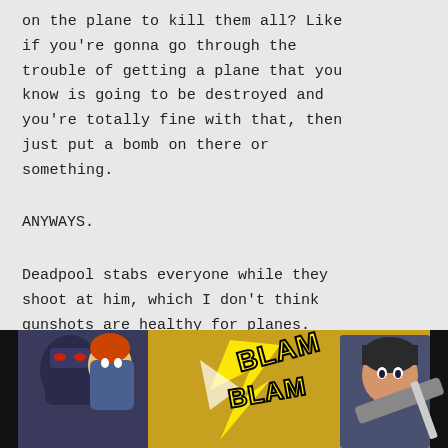on the plane to kill them all? Like if you're gonna go through the trouble of getting a plane that you know is going to be destroyed and you're totally fine with that, then just put a bomb on there or something.
ANYWAYS.
Deadpool stabs everyone while they shoot at him, which I don't think gunshots are healthy for planes.
[Figure (photo): Comic book panel showing Deadpool action scene with characters and BLAM sound effects]